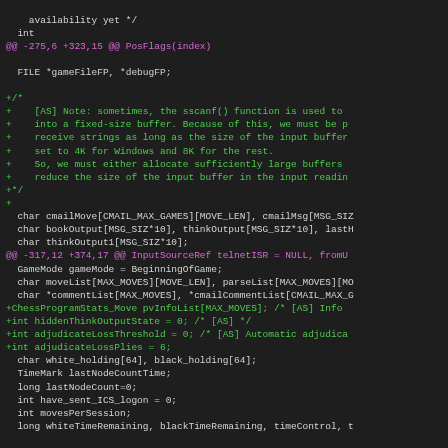Code diff showing changes to a C source file, including variable declarations and comments related to buffer size, chess program stats, and game state variables.